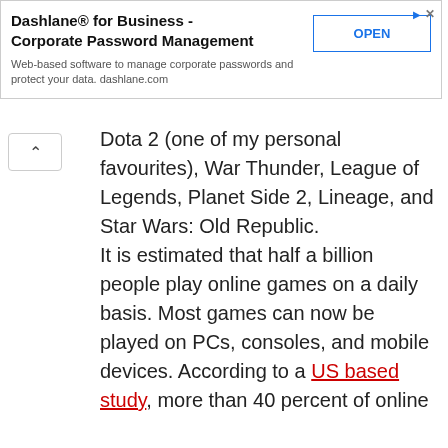[Figure (other): Advertisement banner for Dashlane for Business - Corporate Password Management with an OPEN button]
Dota 2 (one of my personal favourites), War Thunder, League of Legends, Planet Side 2, Lineage, and Star Wars: Old Republic. It is estimated that half a billion people play online games on a daily basis. Most games can now be played on PCs, consoles, and mobile devices. According to a US based study, more than 40 percent of online